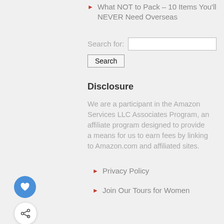What NOT to Pack – 10 Items You'll NEVER Need Overseas
Search for:
Disclosure
We are a participant in the Amazon Services LLC Associates Program, an affiliate program designed to provide a means for us to earn fees by linking to Amazon.com and affiliated sites.
Privacy Policy
Join Our Tours for Women